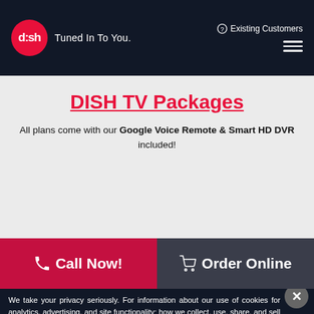dish Tuned In To You. | Existing Customers | Menu
DISH TV Packages
All plans come with our Google Voice Remote & Smart HD DVR included!
Call Now!
Order Online
We take your privacy seriously. For information about our use of cookies for analytics, advertising, and site functionality; how we collect, use, share, and sell your personal information; and how to exercise your rights with regard to your personal information, please view our Privacy Policy.